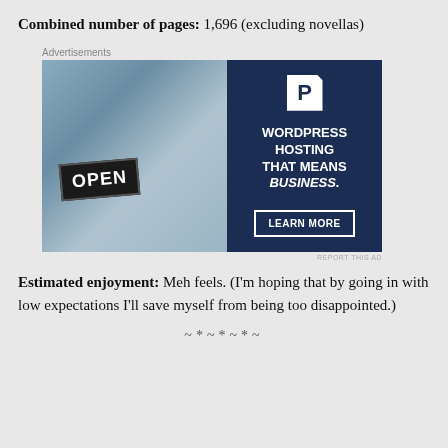Combined number of pages: 1,696 (excluding novellas)
[Figure (photo): Advertisement for WordPress Hosting featuring a smiling woman holding an OPEN sign, with dark navy blue right panel showing WordPress logo, text 'WORDPRESS HOSTING THAT MEANS BUSINESS.' and a 'LEARN MORE' button]
Estimated enjoyment: Meh feels. (I'm hoping that by going in with low expectations I'll save myself from being too disappointed.)
~*~*~*~